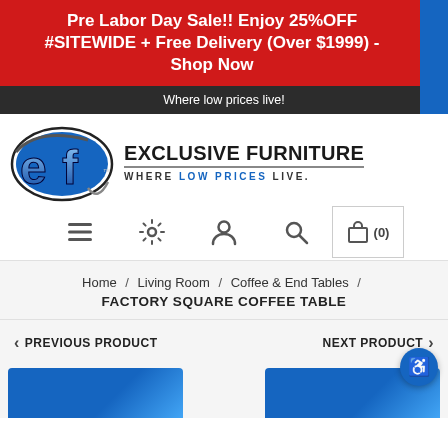Pre Labor Day Sale!! Enjoy 25%OFF #SITEWIDE + Free Delivery (Over $1999) - Shop Now
Where low prices live!
[Figure (logo): Exclusive Furniture logo with EF emblem and tagline WHERE LOW PRICES LIVE.]
[Figure (infographic): Navigation icons: hamburger menu, settings gear, user account, search, and shopping cart (0)]
Home / Living Room / Coffee & End Tables / FACTORY SQUARE COFFEE TABLE
PREVIOUS PRODUCT
NEXT PRODUCT